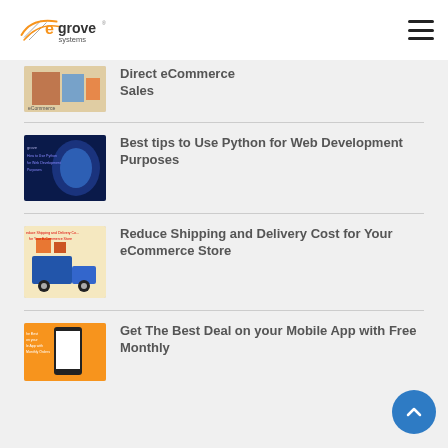eGrove Systems
[Figure (screenshot): Thumbnail image for article about Direct eCommerce Sales]
Direct eCommerce Sales
[Figure (screenshot): Thumbnail image for article about Python for Web Development Purposes]
Best tips to Use Python for Web Development Purposes
[Figure (screenshot): Thumbnail image for article about Reduce Shipping and Delivery Cost for Your eCommerce Store]
Reduce Shipping and Delivery Cost for Your eCommerce Store
[Figure (screenshot): Thumbnail image for article about Get The Best Deal on your Mobile App with Free Monthly]
Get The Best Deal on your Mobile App with Free Monthly